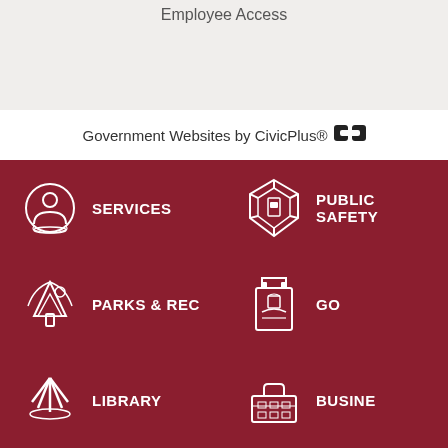Employee Access
Government Websites by CivicPlus®
[Figure (infographic): Dark red navigation grid with icons and labels: SERVICES, PUBLIC SAFETY, PARKS & REC, GO... (GOVERNMENT), LIBRARY, BUSINE... (BUSINESS). Each item has a white icon and white bold text label. A 'Questions?' chat popup overlay is visible in the bottom right area along with an ASK widget.]